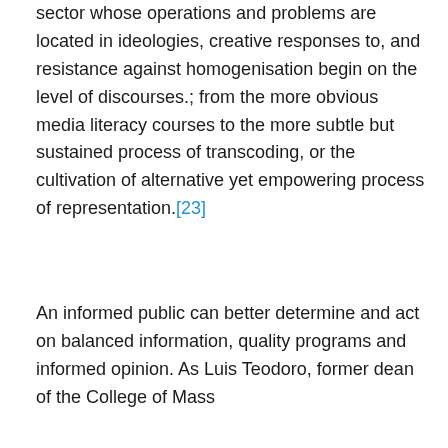sector whose operations and problems are located in ideologies, creative responses to, and resistance against homogenisation begin on the level of discourses.; from the more obvious media literacy courses to the more subtle but sustained process of transcoding, or the cultivation of alternative yet empowering process of representation.[23]
An informed public can better determine and act on balanced information, quality programs and informed opinion. As Luis Teodoro, former dean of the College of Mass